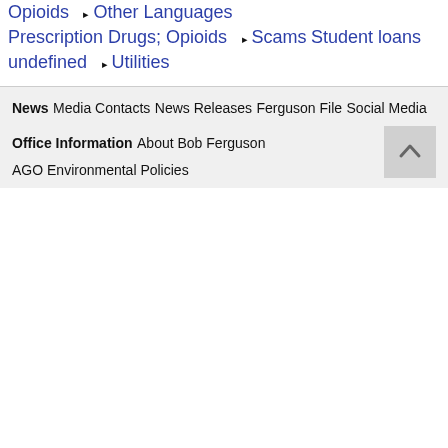Opioids
▶ Other Languages
Prescription Drugs; Opioids
▶ Scams
Student loans
undefined
▶ Utilities
News
Media Contacts
News Releases
Ferguson File
Social Media
Office Information
About Bob Ferguson
AGO Environmental Policies